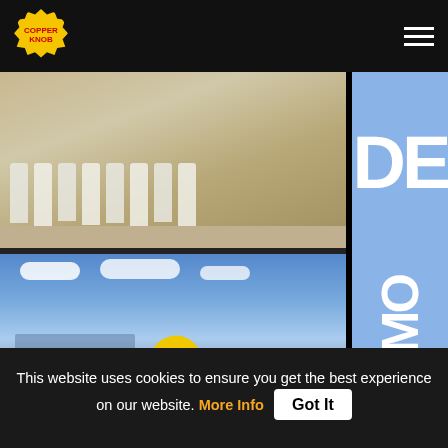CopperKnob — navigation bar with logo and hamburger menu
[Figure (photo): Group of people in white shirts dancing outdoors on a paved area, appearing to line dance or cumbia dance]
[Figure (photo): Woman walking along a harbor boardwalk with sailboats and blue sky, with a large yellow smiley face emoji overlaid]
DE
DEMO
DEMO
Cumbia Reggaeton
This website uses cookies to ensure you get the best experience on our website.  More Info  Got It